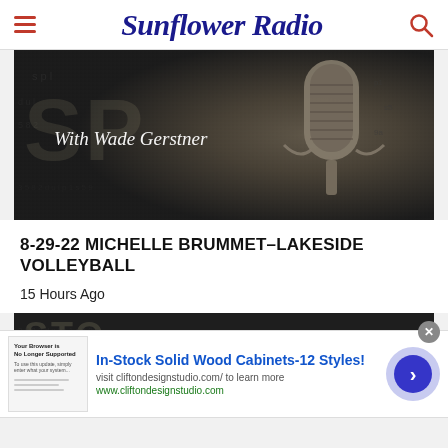Sunflower Radio
[Figure (photo): Dark background radio show promotional image with text 'With Wade Gerstner' and a studio microphone on the right side]
8-29-22 MICHELLE BRUMMET–LAKESIDE VOLLEYBALL
15 Hours Ago
[Figure (photo): Partial view of a second radio show promotional image, dark background]
[Figure (infographic): Advertisement banner: In-Stock Solid Wood Cabinets-12 Styles! visit cliftondesignstudio.com/ to learn more. www.cliftondesignstudio.com]